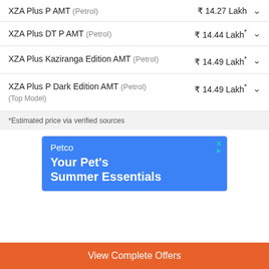XZA Plus P AMT (Petrol) ₹ 14.27 Lakh
XZA Plus DT P AMT (Petrol) ₹ 14.44 Lakh*
XZA Plus Kaziranga Edition AMT (Petrol) ₹ 14.49 Lakh*
XZA Plus P Dark Edition AMT (Petrol) ₹ 14.49 Lakh* (Top Model)
*Estimated price via verified sources
[Figure (screenshot): Petco advertisement banner: 'Your Pet's Summer Essentials' on blue background with close/play icons]
View Complete Offers